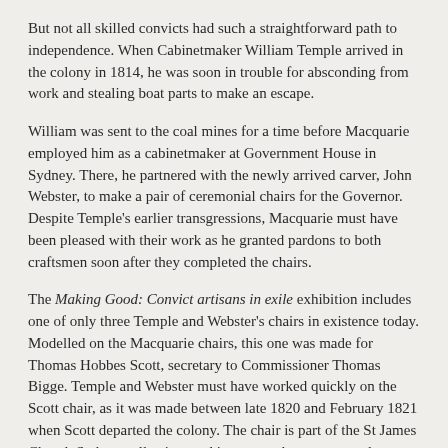But not all skilled convicts had such a straightforward path to independence. When Cabinetmaker William Temple arrived in the colony in 1814, he was soon in trouble for absconding from work and stealing boat parts to make an escape.
William was sent to the coal mines for a time before Macquarie employed him as a cabinetmaker at Government House in Sydney. There, he partnered with the newly arrived carver, John Webster, to make a pair of ceremonial chairs for the Governor. Despite Temple's earlier transgressions, Macquarie must have been pleased with their work as he granted pardons to both craftsmen soon after they completed the chairs.
The Making Good: Convict artisans in exile exhibition includes one of only three Temple and Webster's chairs in existence today. Modelled on the Macquarie chairs, this one was made for Thomas Hobbes Scott, secretary to Commissioner Thomas Bigge. Temple and Webster must have worked quickly on the Scott chair, as it was made between late 1820 and February 1821 when Scott departed the colony. The chair is part of the St James Church Sydney collection, and its owners have generously loaned it to this exhibition.